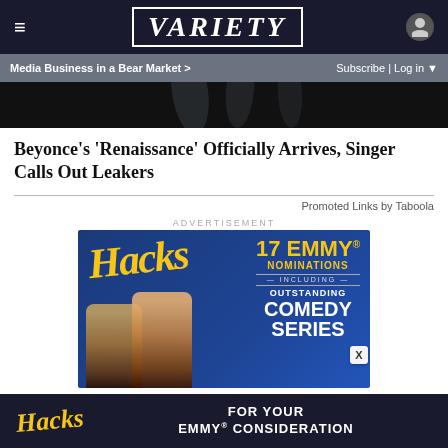VARIETY — Media Business in a Bear Market >  Subscribe | Log in
[Figure (photo): Dark image strip showing water droplet shapes against black background, partial view of a Beyoncé promotional image]
Beyonce's 'Renaissance' Officially Arrives, Singer Calls Out Leakers
Promoted Links by Taboola
ADVERTISEMENT
[Figure (photo): Advertisement for HBO Max show 'Hacks' — Blue background with two actresses (Jean Smart and Hannah Einbinder), text: 17 EMMY NOMINATIONS INCLUDING OUTSTANDING COMEDY SERIES]
[Figure (photo): Bottom advertisement banner for Hacks — FOR YOUR EMMY CONSIDERATION on dark blue background with Hacks logo in yellow]